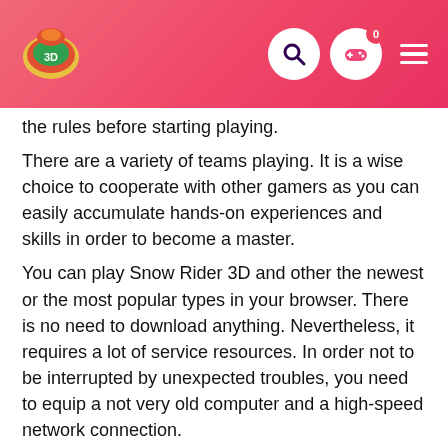Snow Rider 3D game website header with logo, search, controller and menu icons
the rules before starting playing.
There are a variety of teams playing. It is a wise choice to cooperate with other gamers as you can easily accumulate hands-on experiences and skills in order to become a master.
You can play Snow Rider 3D and other the newest or the most popular types in your browser. There is no need to download anything. Nevertheless, it requires a lot of service resources. In order not to be interrupted by unexpected troubles, you need to equip a not very old computer and a high-speed network connection.
Types of users
It's not hard to control all types of io. games in general, Snow Rider 3D in particular. Therefore, regardless of level, background, grade, and age can experience those.
However, make sure that you need to play them with a suitable schedule to prevent unwanted